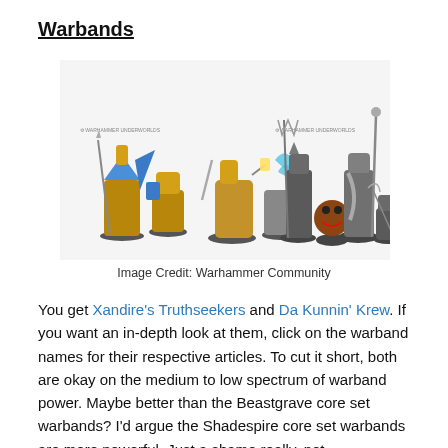Warbands
[Figure (photo): Two groups of painted Warhammer Underworlds miniatures on bases. Left group shows Xandire's Truthseekers (armoured blue and gold warriors). Right group shows Da Kunnin' Krew (orruk/goblin-type monsters). Small logo text visible above each group.]
Image Credit: Warhammer Community
You get Xandire's Truthseekers and Da Kunnin' Krew. If you want an in-depth look at them, click on the warband names for their respective articles. To cut it short, both are okay on the medium to low spectrum of warband power. Maybe better than the Beastgrave core set warbands? I'd argue the Shadespire core set warbands are more powerful. Just a shame really, not